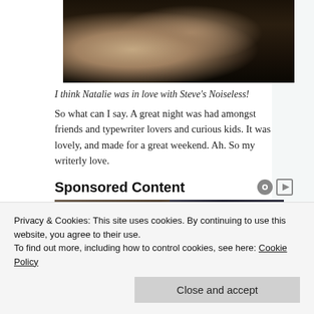[Figure (photo): Person typing on a vintage typewriter, viewed from above at an angle. The person is wearing a grey knit sweater. The typewriter is dark/black with many keys visible.]
I think Natalie was in love with Steve's Noiseless! So what can I say. A great night was had amongst friends and typewriter lovers and curious kids. It was lovely, and made for a great weekend. Ah. So my writerly love.
Sponsored Content
[Figure (photo): Two images side by side: left shows a person's head/face, right shows a Samsung phone screen displaying 'Menu Edge'.]
Privacy & Cookies: This site uses cookies. By continuing to use this website, you agree to their use.
To find out more, including how to control cookies, see here: Cookie Policy
Close and accept